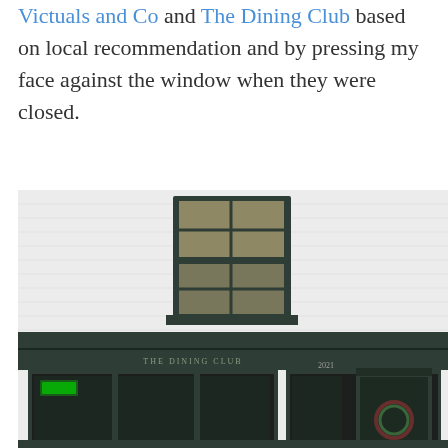Victuals and Co and The Dining Club based on local recommendation and by pressing my face against the window when they were closed.
[Figure (photo): Exterior photograph of The Dining Club storefront: a white painted brick building with dark green painted shopfront, featuring a large display window with multi-pane glazing, a door with fanlight, and a sash window above. The words 'THE DINING CLUB' are visible on the fascia board.]